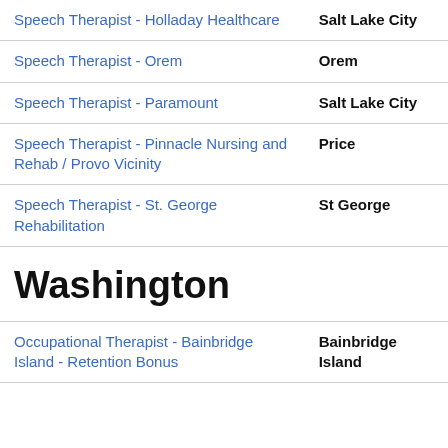| Job Title | Location |
| --- | --- |
| Speech Therapist - Holladay Healthcare | Salt Lake City |
| Speech Therapist - Orem | Orem |
| Speech Therapist - Paramount | Salt Lake City |
| Speech Therapist - Pinnacle Nursing and Rehab / Provo Vicinity | Price |
| Speech Therapist - St. George Rehabilitation | St George |
| Washington |  |
| Occupational Therapist - Bainbridge Island - Retention Bonus | Bainbridge Island |